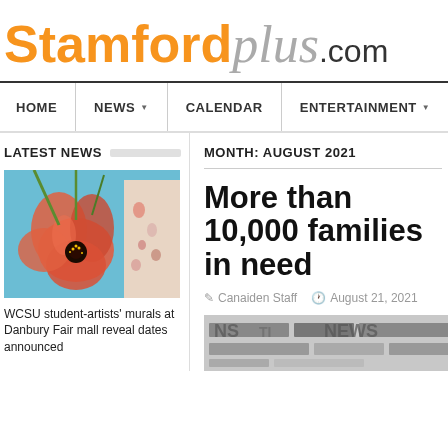StamfordPlus.com
HOME | NEWS | CALENDAR | ENTERTAINMENT
LATEST NEWS
[Figure (photo): Photo of large orange/red poppy flower against a blue sky background with a person in floral dress partially visible on the right]
WCSU student-artists' murals at Danbury Fair mall reveal dates announced
MONTH: AUGUST 2021
More than 10,000 families in need
Canaiden Staff   August 21, 2021
[Figure (screenshot): Partial image of newspaper/news text clipping at the bottom of the article]